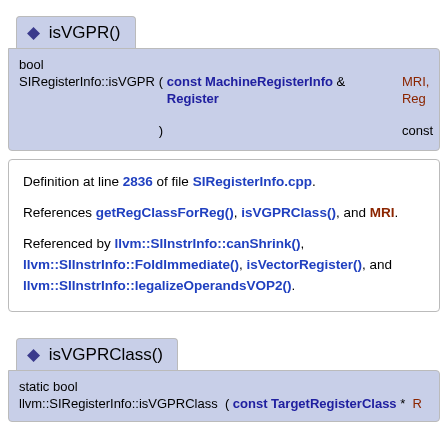◆ isVGPR()
bool
SIRegisterInfo::isVGPR ( const MachineRegisterInfo & MRI, Register Reg ) const
Definition at line 2836 of file SIRegisterInfo.cpp.

References getRegClassForReg(), isVGPRClass(), and MRI.

Referenced by llvm::SIInstrInfo::canShrink(), llvm::SIInstrInfo::FoldImmediate(), isVectorRegister(), and llvm::SIInstrInfo::legalizeOperandsVOP2().
◆ isVGPRClass()
static bool
llvm::SIRegisterInfo::isVGPRClass ( const TargetRegisterClass * R